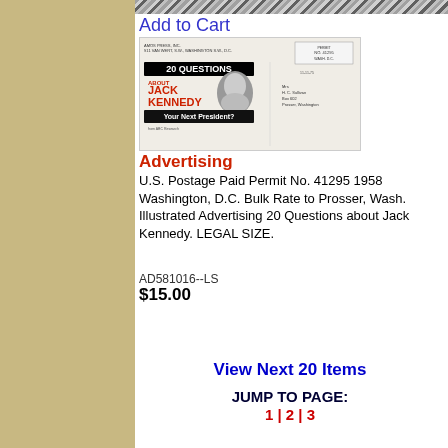[Figure (other): Decorative diagonal stripe banner at top]
Add to Cart
[Figure (photo): Image of a political advertising mailer titled '20 Questions About Jack Kennedy - Your Next President?' with a photo of Kennedy and postage permit info showing Washington D.C. Bulk Rate to Prosser, Wash.]
Advertising
U.S. Postage Paid Permit No. 41295 1958 Washington, D.C. Bulk Rate to Prosser, Wash. Illustrated Advertising 20 Questions about Jack Kennedy. LEGAL SIZE.
AD581016--LS
$15.00
View Next 20 Items
JUMP TO PAGE:
1 | 2 | 3